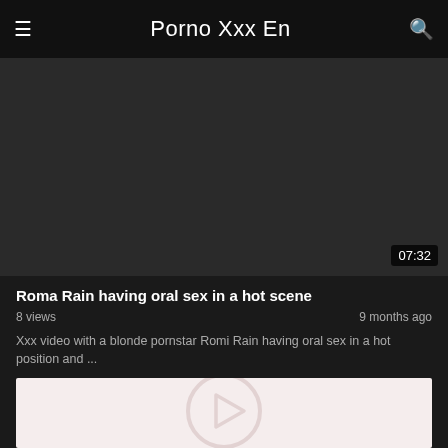Porno Xxx En
[Figure (screenshot): Dark video thumbnail placeholder area with duration badge showing 07:32]
Roma Rain having oral sex in a hot scene
8 views · 9 months ago
Xxx video with a blonde pornstar Romi Rain having oral sex in a hot position and ...
[Figure (screenshot): Light-colored video thumbnail with play button icon overlay]